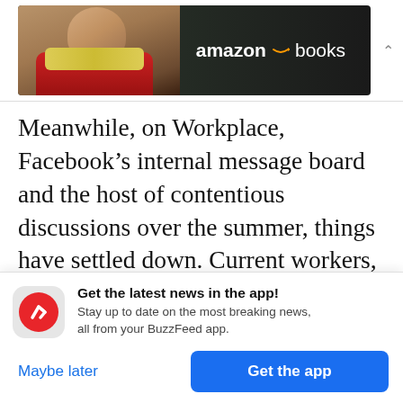[Figure (photo): Amazon Books advertisement banner with a bald man in the lower left and 'amazon books' text with Amazon logo arrow on dark background]
Meanwhile, on Workplace, Facebook's internal message board and the host of contentious discussions over the summer, things have settled down. Current workers, who spoke to BuzzFeed News anonymously because they feared reprisal, said the company's crackdown on political speech earlier this year has silenced discussion of the US election in open groups.
Get the latest news in the app! Stay up to date on the most breaking news, all from your BuzzFeed app.
Maybe later
Get the app